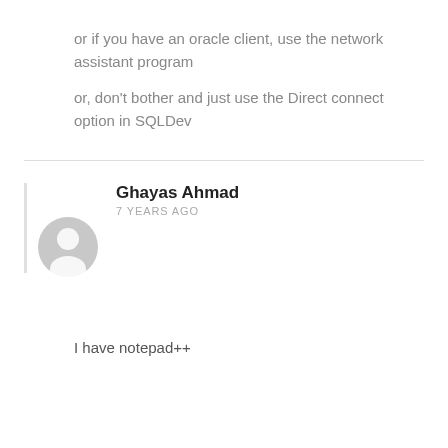or if you have an oracle client, use the network assistant program
or, don't bother and just use the Direct connect option in SQLDev
Ghayas Ahmad
7 YEARS AGO
[Figure (illustration): Default user avatar icon, grey silhouette of a person in a circle]
I have notepad++